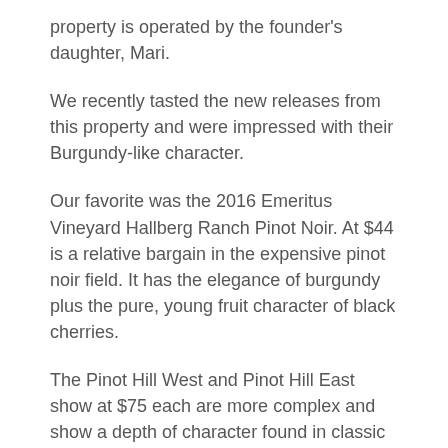property is operated by the founder's daughter, Mari.
We recently tasted the new releases from this property and were impressed with their Burgundy-like character.
Our favorite was the 2016 Emeritus Vineyard Hallberg Ranch Pinot Noir. At $44 is a relative bargain in the expensive pinot noir field. It has the elegance of burgundy plus the pure, young fruit character of black cherries.
The Pinot Hill West and Pinot Hill East show at $75 each are more complex and show a depth of character found in classic California pinot noir.